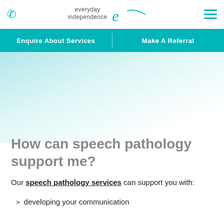[Figure (logo): Everyday Independence logo with teal script 'e' and swoosh]
Enquire About Services | Make A Referral
[Figure (illustration): Gradient teal to white background image area]
How can speech pathology support me?
Our speech pathology services can support you with:
> developing your communication